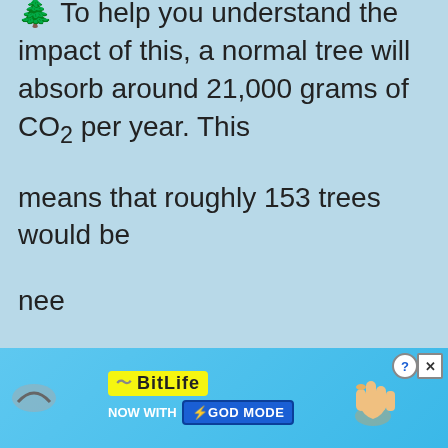🌲 To help you understand the impact of this, a normal tree will absorb around 21,000 grams of CO₂ per year. This means that roughly 153 trees would be needed...
[Figure (other): Advertisement banner for BitLife game with 'NOW WITH GOD MODE' text, hand pointing graphic, close button and help icon]